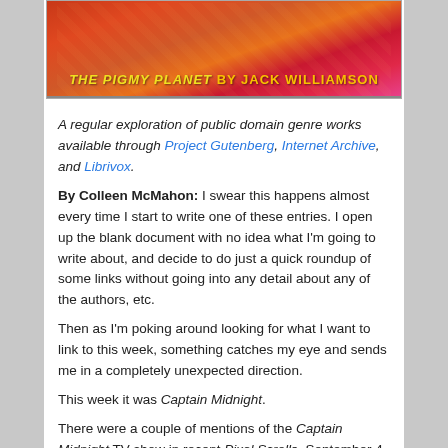[Figure (illustration): Book cover image showing 'THE PIGMY PLANET By JACK WILLIAMSON' in yellow/gold text on a colorful painted background]
A regular exploration of public domain genre works available through Project Gutenberg, Internet Archive, and Librivox.
By Colleen McMahon: I swear this happens almost every time I start to write one of these entries. I open up the blank document with no idea what I'm going to write about, and decide to do just a quick roundup of some links without going into any detail about any of the authors, etc.
Then as I'm poking around looking for what I want to link to this week, something catches my eye and sends me in a completely unexpected direction.
This week it was Captain Midnight.
There were a couple of mentions of the Captain Midnight TV show in recent Pixel Scrolls. September 4 saw the